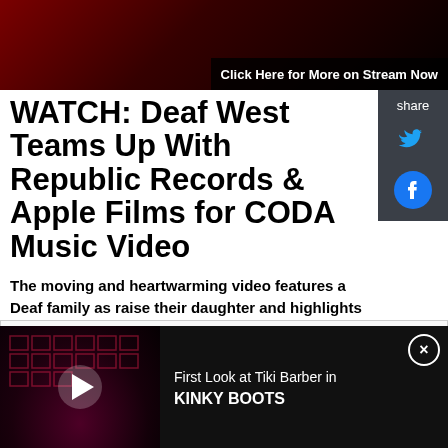[Figure (screenshot): Dark red theatrical banner image at top of page with overlay text 'Click Here for More on Stream Now']
WATCH: Deaf West Teams Up With Republic Records & Apple Films for CODA Music Video
The moving and heartwarming video features a Deaf family as raise their daughter and highlights the importance of "Connec Is Universal."
[Figure (screenshot): Video embed box with text 'Register for UK / West End']
[Figure (screenshot): Advertisement bar at bottom showing a video thumbnail of a stage production with play button, text: 'First Look at Tiki Barber in KINKY BOOTS' with close button]